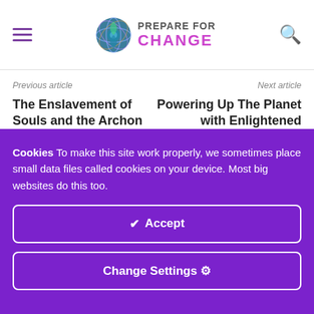PREPARE FOR CHANGE
Previous article
Next article
The Enslavement of Souls and the Archon Gate Keepers
Powering Up The Planet with Enlightened Support – Special Activation with Quan Yin on Ground Crew Command
Cookies To make this site work properly, we sometimes place small data files called cookies on your device. Most big websites do this too.
✔ Accept
Change Settings ⚙